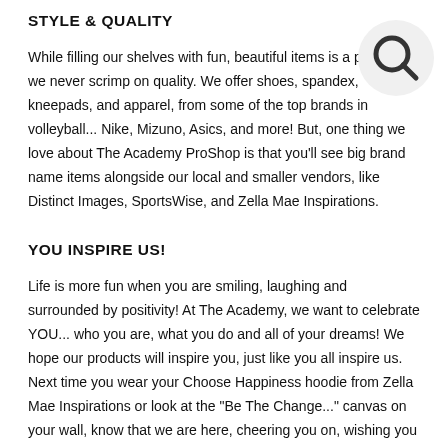STYLE & QUALITY
[Figure (illustration): Search icon (magnifying glass) in a light circle, top right corner of the page]
While filling our shelves with fun, beautiful items is a priority, we never scrimp on quality. We offer shoes, spandex, kneepads, and apparel, from some of the top brands in volleyball... Nike, Mizuno, Asics, and more! But, one thing we love about The Academy ProShop is that you'll see big brand name items alongside our local and smaller vendors, like Distinct Images, SportsWise, and Zella Mae Inspirations.
YOU INSPIRE US!
Life is more fun when you are smiling, laughing and surrounded by positivity! At The Academy, we want to celebrate YOU... who you are, what you do and all of your dreams! We hope our products will inspire you, just like you all inspire us. Next time you wear your Choose Happiness hoodie from Zella Mae Inspirations or look at the "Be The Change..." canvas on your wall, know that we are here, cheering you on, wishing you